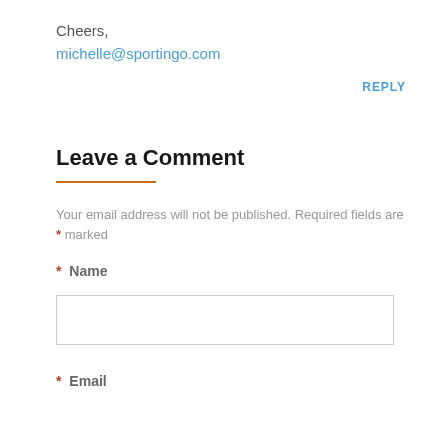Cheers,
michelle@sportingo.com
REPLY
Leave a Comment
Your email address will not be published. Required fields are * marked
* Name
* Email